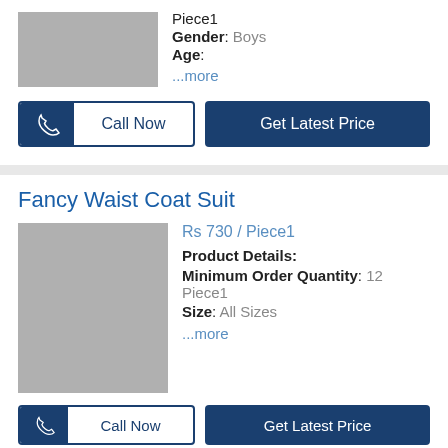[Figure (photo): Gray placeholder product image]
Piece1
Gender: Boys
Age:
...more
Call Now
Get Latest Price
Fancy Waist Coat Suit
[Figure (photo): Gray placeholder product image for Fancy Waist Coat Suit]
Rs 730 / Piece1
Product Details:
Minimum Order Quantity: 12 Piece1
Size: All Sizes
...more
Call Now
Get Latest Price